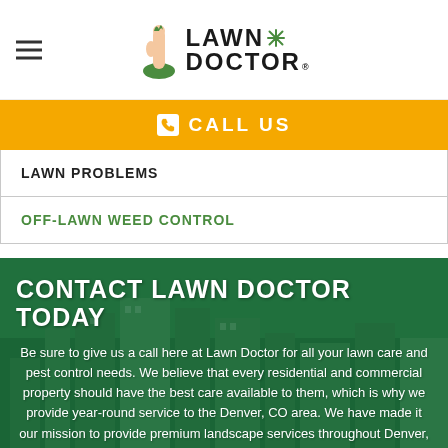[Figure (logo): Lawn Doctor logo with hand holding grass and snowflake star icon]
CALL US
LAWN PROBLEMS
OFF-LAWN WEED CONTROL
CONTACT LAWN DOCTOR TODAY
Be sure to give us a call here at Lawn Doctor for all your lawn care and pest control needs. We believe that every residential and commercial property should have the best care available to them, which is why we provide year-round service to the Denver, CO area. We have made it our mission to provide premium landscape services throughout Denver,